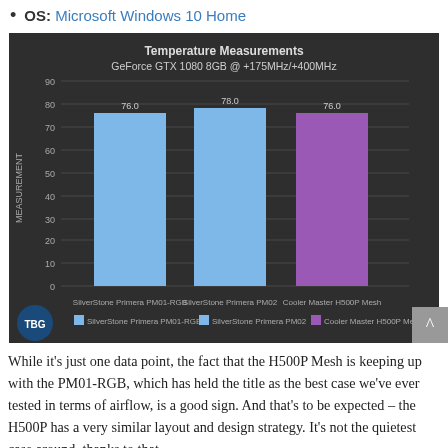OS: Microsoft Windows 10 Home
[Figure (bar-chart): Temperature Measurements
GeForce GTX 1080 8GB @ +175MHz/+400MHz]
While it's just one data point, the fact that the H500P Mesh is keeping up with the PM01-RGB, which has held the title as the best case we've ever tested in terms of airflow, is a good sign. And that's to be expected – the H500P has a very similar layout and design strategy. It's not the quietest case around, thanks to that